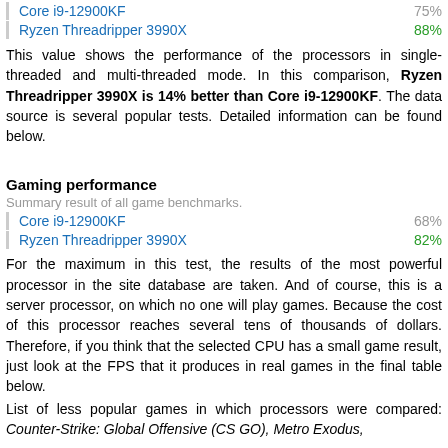Core i9-12900KF 75%
Ryzen Threadripper 3990X 88%
This value shows the performance of the processors in single-threaded and multi-threaded mode. In this comparison, Ryzen Threadripper 3990X is 14% better than Core i9-12900KF. The data source is several popular tests. Detailed information can be found below.
Gaming performance
Summary result of all game benchmarks.
Core i9-12900KF 68%
Ryzen Threadripper 3990X 82%
For the maximum in this test, the results of the most powerful processor in the site database are taken. And of course, this is a server processor, on which no one will play games. Because the cost of this processor reaches several tens of thousands of dollars. Therefore, if you think that the selected CPU has a small game result, just look at the FPS that it produces in real games in the final table below.
List of less popular games in which processors were compared: Counter-Strike: Global Offensive (CS GO), Metro Exodus,